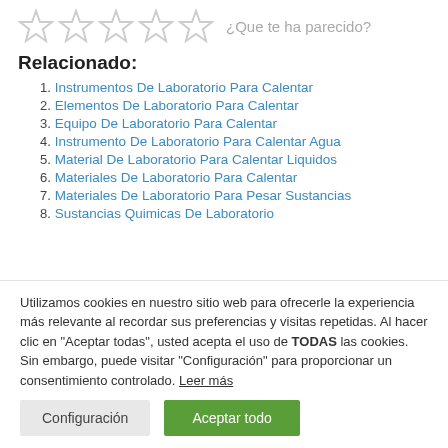[Figure (other): Five empty star rating icons with text '¿Que te ha parecido?' in gray]
Relacionado:
1. Instrumentos De Laboratorio Para Calentar
2. Elementos De Laboratorio Para Calentar
3. Equipo De Laboratorio Para Calentar
4. Instrumento De Laboratorio Para Calentar Agua
5. Material De Laboratorio Para Calentar Liquidos
6. Materiales De Laboratorio Para Calentar
7. Materiales De Laboratorio Para Pesar Sustancias
8. Sustancias Quimicas De Laboratorio
Utilizamos cookies en nuestro sitio web para ofrecerle la experiencia más relevante al recordar sus preferencias y visitas repetidas. Al hacer clic en "Aceptar todas", usted acepta el uso de TODAS las cookies. Sin embargo, puede visitar "Configuración" para proporcionar un consentimiento controlado. Leer más
Configuración | Aceptar todo